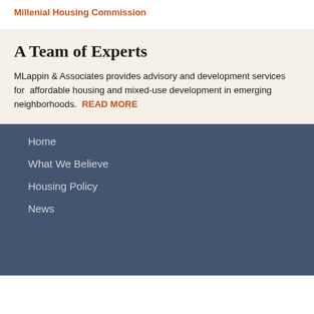Millenial Housing Commission
A Team of Experts
MLappin & Associates provides advisory and development services for  affordable housing and mixed-use development in emerging neighborhoods.  READ MORE
Home
What We Believe
Housing Policy
News